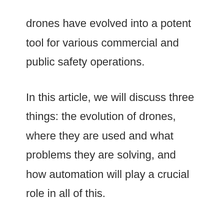drones have evolved into a potent tool for various commercial and public safety operations.
In this article, we will discuss three things: the evolution of drones, where they are used and what problems they are solving, and how automation will play a crucial role in all of this.
Before we dive into this main discussion,